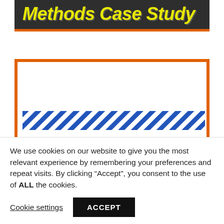[Figure (illustration): Dark banner with yellow italic bold text reading 'Internet Marketing Methods Case Study', orange bottom border. Below it an orange-bordered white box containing a blue diagonal stripe bar and partially visible blurred blue text at the bottom.]
We use cookies on our website to give you the most relevant experience by remembering your preferences and repeat visits. By clicking “Accept”, you consent to the use of ALL the cookies.
Cookie settings
ACCEPT